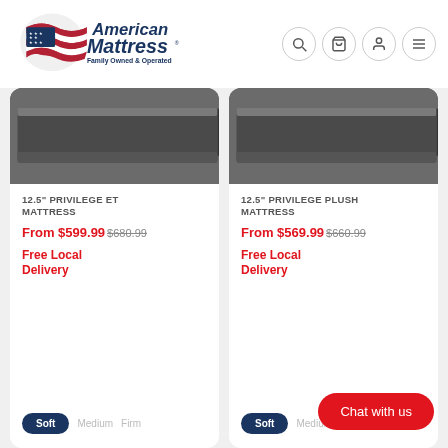[Figure (logo): American Mattress logo with American flag graphic and tagline 'Family Owned & Operated']
[Figure (photo): Dark grey mattress corner/edge product photo for 12.5" Privilege ET Mattress]
12.5" PRIVILEGE ET MATTRESS
From $599.99  $680.99
Free Local Delivery
[Figure (photo): Dark grey mattress corner/edge product photo for 12.5" Privilege Plush Mattress]
12.5" PRIVILEGE PLUSH MATTRESS
From $569.99  $660.99
Free Local Delivery
Chat with us